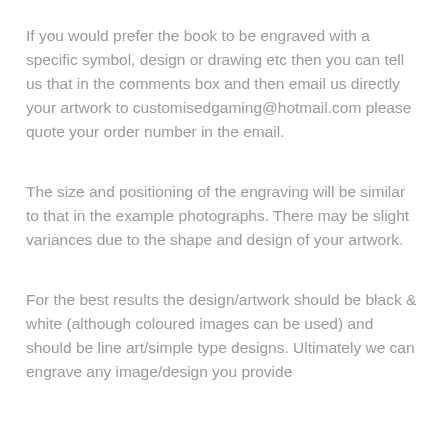If you would prefer the book to be engraved with a specific symbol, design or drawing etc then you can tell us that in the comments box and then email us directly your artwork to customisedgaming@hotmail.com please quote your order number in the email.
The size and positioning of the engraving will be similar to that in the example photographs. There may be slight variances due to the shape and design of your artwork.
For the best results the design/artwork should be black & white (although coloured images can be used) and should be line art/simple type designs. Ultimately we can engrave any image/design you provide